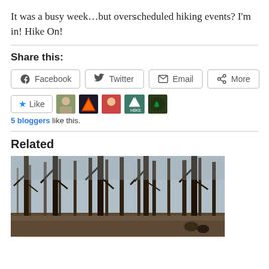It was a busy week…but overscheduled hiking events? I'm in! Hike On!
Share this:
Facebook | Twitter | Email | More
Like | [5 blogger avatars]
5 bloggers like this.
Related
[Figure (photo): A hiking trail through a bare winter forest with tall trees, people visible in the lower right.]